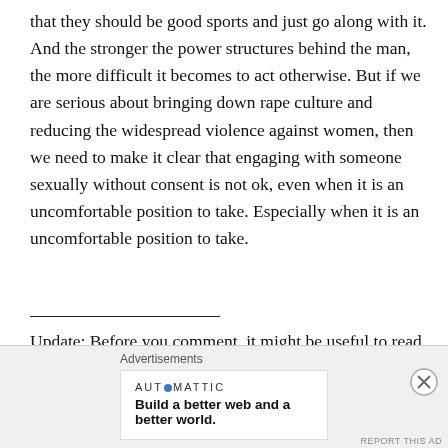that they should be good sports and just go along with it. And the stronger the power structures behind the man, the more difficult it becomes to act otherwise. But if we are serious about bringing down rape culture and reducing the widespread violence against women, then we need to make it clear that engaging with someone sexually without consent is not ok, even when it is an uncomfortable position to take. Especially when it is an uncomfortable position to take.
Update: Before you comment, it might be useful to read The Kissing Sailor Part 2: Debunking Misconceptions.
[Figure (other): Advertisement box: Automattic logo and tagline 'Build a better web and a better world.' with close button and report ad link]